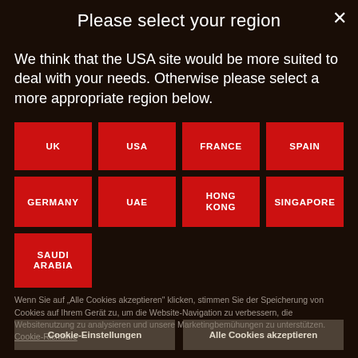Please select your region
We think that the USA site would be more suited to deal with your needs. Otherwise please select a more appropriate region below.
UK
USA
FRANCE
SPAIN
GERMANY
UAE
HONG KONG
SINGAPORE
SAUDI ARABIA
Wenn Sie auf "Alle Cookies akzeptieren" klicken, stimmen Sie der Speicherung von Cookies auf Ihrem Gerät zu, um die Website-Navigation zu verbessern, die Websitenutzung zu analysieren und unsere Marketingbemühungen zu unterstützen. Cookie-Richtlinie
Cookie-Einstellungen
Alle Cookies akzeptieren